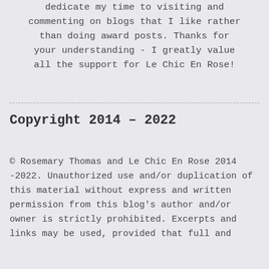dedicate my time to visiting and commenting on blogs that I like rather than doing award posts. Thanks for your understanding - I greatly value all the support for Le Chic En Rose!
Copyright 2014 – 2022
© Rosemary Thomas and Le Chic En Rose 2014 -2022. Unauthorized use and/or duplication of this material without express and written permission from this blog's author and/or owner is strictly prohibited. Excerpts and links may be used, provided that full and